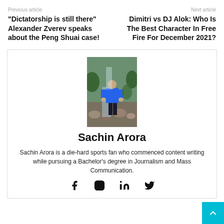Previous article
Next article
“Dictatorship is still there” Alexander Zverev speaks about the Peng Shuai case!
Dimitri vs DJ Alok: Who Is The Best Character In Free Fire For December 2021?
[Figure (photo): Photo of Sachin Arora standing outdoors in a blue shirt near rocky terrain with water and greenery]
Sachin Arora
Sachin Arora is a die-hard sports fan who commenced content writing while pursuing a Bachelor's degree in Journalism and Mass Communication.